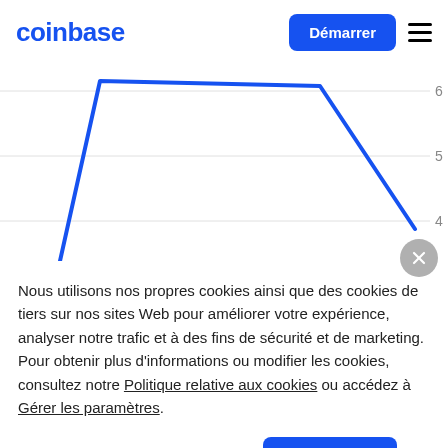coinbase
[Figure (continuous-plot): A line chart showing a sharp upward movement followed by a steep downward trend, rendered in blue on a white background with horizontal gridlines and y-axis labels 4, 5, 6.]
Nous utilisons nos propres cookies ainsi que des cookies de tiers sur nos sites Web pour améliorer votre expérience, analyser notre trafic et à des fins de sécurité et de marketing. Pour obtenir plus d'informations ou modifier les cookies, consultez notre Politique relative aux cookies ou accédez à Gérer les paramètres.